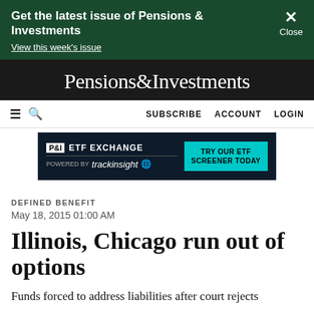Get the latest issue of Pensions & Investments
View this week's issue
Pensions&Investments
SUBSCRIBE  ACCOUNT  LOGIN
[Figure (screenshot): Advertisement banner for P&I ETF Exchange powered by trackinsight with a teal button reading TRY OUR ETF SCREENER TODAY]
DEFINED BENEFIT
May 18, 2015 01:00 AM
Illinois, Chicago run out of options
Funds forced to address liabilities after court rejects